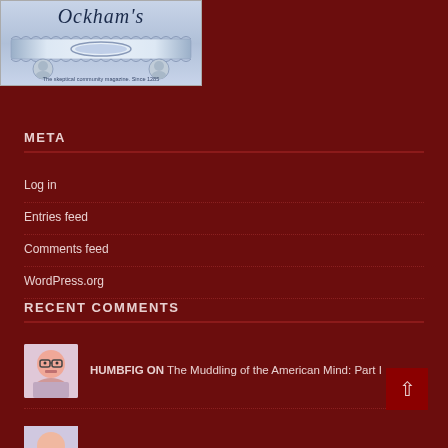[Figure (logo): Ockham's Razor blog logo — a razor blade illustration with the text 'Ockham's' in cursive script, with two face medallions and tagline text]
META
Log in
Entries feed
Comments feed
WordPress.org
RECENT COMMENTS
HUMBFIG ON The Muddling of the American Mind: Part I